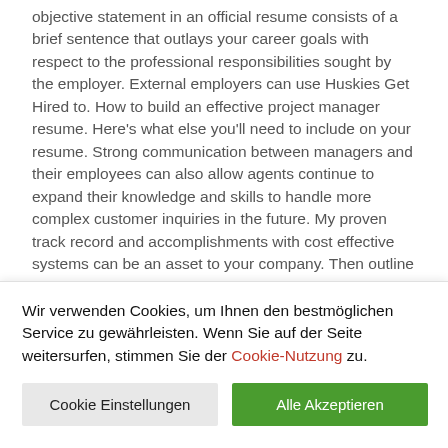objective statement in an official resume consists of a brief sentence that outlays your career goals with respect to the professional responsibilities sought by the employer. External employers can use Huskies Get Hired to. How to build an effective project manager resume. Here's what else you'll need to include on your resume. Strong communication between managers and their employees can also allow agents continue to expand their knowledge and skills to handle more complex customer inquiries in the future. My proven track record and accomplishments with cost effective systems can be an asset to your company. Then outline your goal in applying. It's tempting to want to use the same exact resume to target various positions in different industries, but I highly recommend against it. Grammatical errors could mean your application is thrown in the trash, but that's not the only thing that could get your letter
Wir verwenden Cookies, um Ihnen den bestmöglichen Service zu gewährleisten. Wenn Sie auf der Seite weitersurfen, stimmen Sie der Cookie-Nutzung zu.